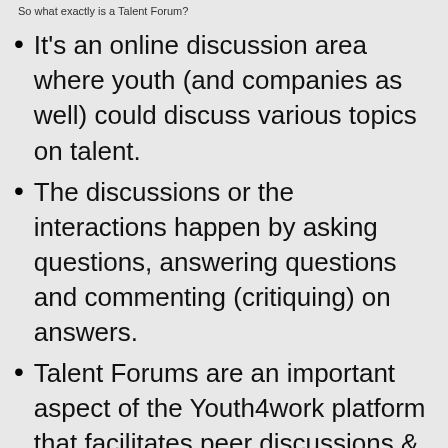So what exactly is a Talent Forum?
It's an online discussion area where youth (and companies as well) could discuss various topics on talent.
The discussions or the interactions happen by asking questions, answering questions and commenting (critiquing) on answers.
Talent Forums are an important aspect of the Youth4work platform that facilitates peer discussions & learning,